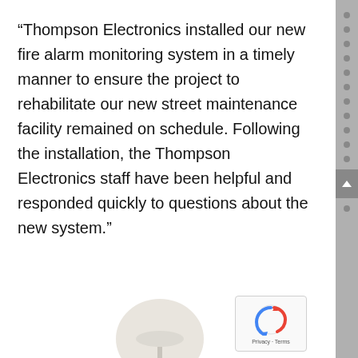“Thompson Electronics installed our new fire alarm monitoring system in a timely manner to ensure the project to rehabilitate our new street maintenance facility remained on schedule. Following the installation, the Thompson Electronics staff have been helpful and responded quickly to questions about the new system.”
Aaron Gavin
City Engineer, City of Galesburg
[Figure (photo): Partial view of a globe/spherical object at the bottom of the page, cream/white colored]
[Figure (logo): Google reCAPTCHA badge with logo and Privacy - Terms text]